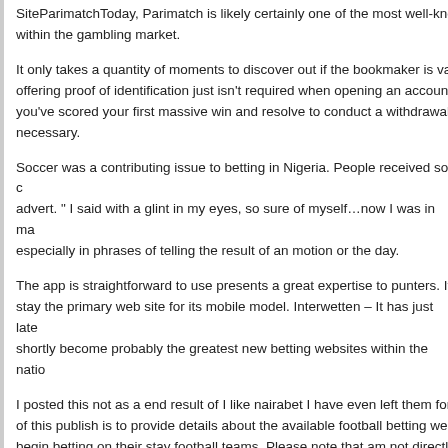SiteParimatchToday, Parimatch is likely certainly one of the most well-kno... within the gambling market.
It only takes a quantity of moments to discover out if the bookmaker is val... offering proof of identification just isn't required when opening an account ... you've scored your first massive win and resolve to conduct a withdrawal, ... necessary.
Soccer was a contributing issue to betting in Nigeria. People received so c... advert. " I said with a glint in my eyes, so sure of myself…now I was in ma... especially in phrases of telling the result of an motion or the day.
The app is straightforward to use presents a great expertise to punters. It ... stay the primary web site for its mobile model. Interwetten – It has just late... shortly become probably the greatest new betting websites within the natio...
I posted this not as a end result of I like nairabet I have even left them for ... of this publish is to provide details about the available football betting web... begin betting on their stay football teams. Please note that am not directly... You can not simply take a betting site bonus at face worth. A betting websi... as a 50% bonus when you sign up for a model new account, but the rollov... requirement is an quantity you must wager – graded, settled wagers only –